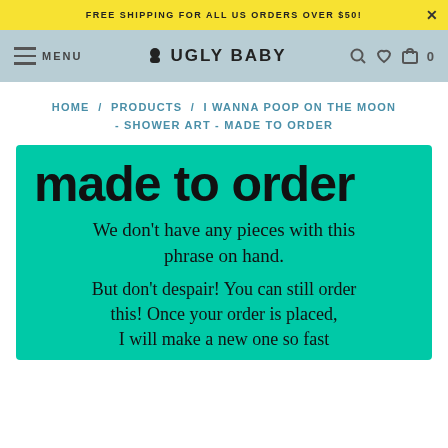FREE SHIPPING FOR ALL US ORDERS OVER $50!
[Figure (screenshot): Ugly Baby store navigation bar with hamburger menu, logo with face icon, search, heart, and cart icons]
HOME / PRODUCTS / I WANNA POOP ON THE MOON - SHOWER ART - MADE TO ORDER
[Figure (infographic): Teal/turquoise card with large 'made to order' text and explanatory message: We don't have any pieces with this phrase on hand. But don't despair! You can still order this! Once your order is placed, I will make a new one so fast]